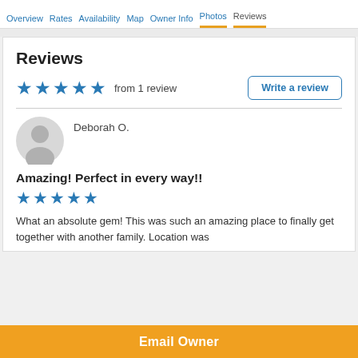Overview  Rates  Availability  Map  Owner Info  Photos  Reviews
Reviews
from 1 review
Write a review
Deborah O.
Amazing! Perfect in every way!!
What an absolute gem! This was such an amazing place to finally get together with another family. Location was